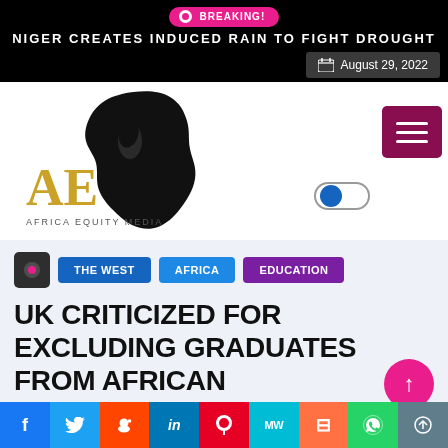BREAKING!
NIGER CREATES INDUCED RAIN TO FIGHT DROUGHT
August 29, 2022
[Figure (logo): Africa Equity Media logo — black silhouette of Africa continent with woman's face profile, gold AE letters below, text AFRICA EQUITY MEDIA]
THE WEST | AFRICA | EDUCATION
UK CRITICIZED FOR EXCLUDING GRADUATES FROM AFRICAN
f  Twitter  Reddit  in  Pinterest  MW  Mix  WhatsApp  Share